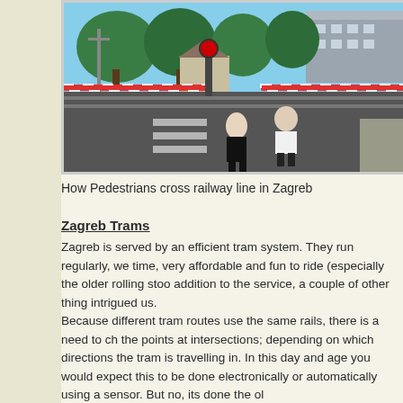[Figure (photo): Two people bending over at a railway level crossing in Zagreb. Red and white striped barrier arms are lowered across the road. Trees and buildings are visible in the background. The scene shows a pedestrian-level railway crossing on a sunny day.]
How Pedestrians cross railway line in Zagreb
Zagreb Trams
Zagreb is served by an efficient tram system. They run regularly, we time, very affordable and fun to ride (especially the older rolling stoo addition to the service, a couple of other thing intrigued us. Because different tram routes use the same rails, there is a need to ch the points at intersections; depending on which directions the tram is travelling in. In this day and age you would expect this to be done electronically or automatically using a sensor. But no, its done the ol